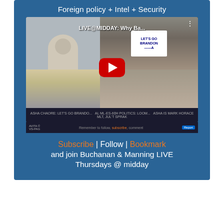Foreign policy + Intel + Security
[Figure (screenshot): YouTube video thumbnail showing a live webcast titled 'LIVE@MIDDAY: Why Ba...' with a split screen of two people on the left and a protest crowd holding a 'Let's Go Brandon' sign on the right, with a YouTube play button overlay. Below the video is a caption bar reading 'Remember to follow, subscribe, comment'.]
Subscribe | Follow | Bookmark
and join Buchanan & Manning LIVE
Thursdays @ midday
MIL Public Webcast Service